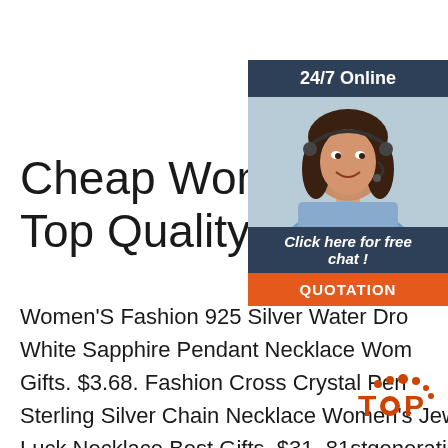Cheap Women's Necklaces, Top Quality. On Sale Now.
Women'S Fashion 925 Silver Water Drop White Sapphire Pendant Necklace Women Gifts. $3.68. Fashion Cross Crystal Pendant Sterling Silver Chain Necklace Women's Jewelry Luck Necklace Best Gifts. $31. 81stgeneration Women's Men's Hand Carved Bone Maori Engraved Koru Spiral Swirl Pendant Necklace. $2.
[Figure (infographic): 24/7 Online chat widget with dark navy header reading '24/7 Online', a photo of a smiling woman with headset, text 'Click here for free chat!' and an orange QUOTATION button]